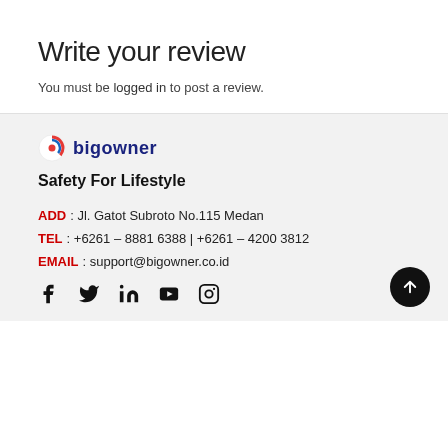Write your review
You must be logged in to post a review.
[Figure (logo): Bigowner logo — red/blue swirl icon with 'bigowner' text in dark blue]
Safety For Lifestyle
ADD : Jl. Gatot Subroto No.115 Medan
TEL : +6261 – 8881 6388 | +6261 – 4200 3812
EMAIL : support@bigowner.co.id
[Figure (infographic): Social media icons row: Facebook, Twitter, LinkedIn, YouTube, Instagram]